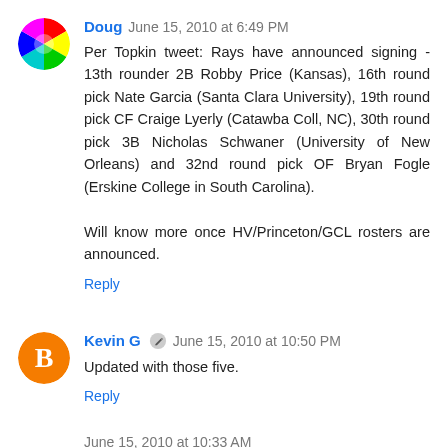Doug  June 15, 2010 at 6:49 PM
Per Topkin tweet: Rays have announced signing - 13th rounder 2B Robby Price (Kansas), 16th round pick Nate Garcia (Santa Clara University), 19th round pick CF Craige Lyerly (Catawba Coll, NC), 30th round pick 3B Nicholas Schwaner (University of New Orleans) and 32nd round pick OF Bryan Fogle (Erskine College in South Carolina).

Will know more once HV/Princeton/GCL rosters are announced.
Reply
Kevin G  June 15, 2010 at 10:50 PM
Updated with those five.
Reply
June 15, 2010 at 10:33 AM